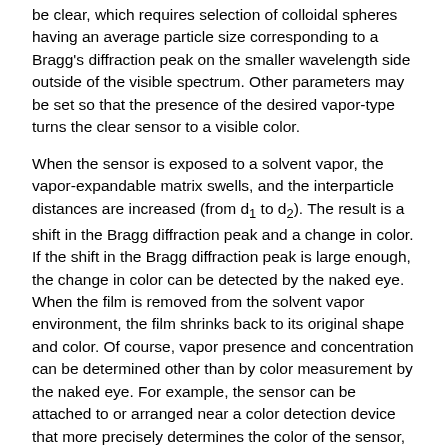be clear, which requires selection of colloidal spheres having an average particle size corresponding to a Bragg's diffraction peak on the smaller wavelength side outside of the visible spectrum. Other parameters may be set so that the presence of the desired vapor-type turns the clear sensor to a visible color.
When the sensor is exposed to a solvent vapor, the vapor-expandable matrix swells, and the interparticle distances are increased (from d1 to d2). The result is a shift in the Bragg diffraction peak and a change in color. If the shift in the Bragg diffraction peak is large enough, the change in color can be detected by the naked eye. When the film is removed from the solvent vapor environment, the film shrinks back to its original shape and color. Of course, vapor presence and concentration can be determined other than by color measurement by the naked eye. For example, the sensor can be attached to or arranged near a color detection device that more precisely determines the color of the sensor, provides more accurate measurements, or to measure smaller color changes. Other measurement devices can also be used to measure color change of the vapor-expandable matrix.